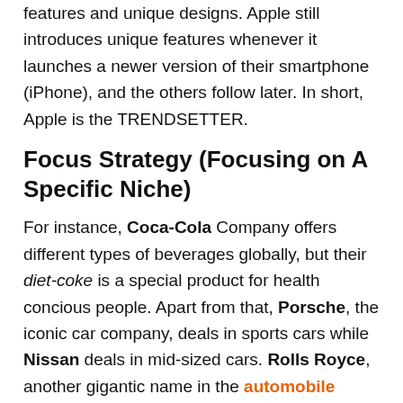features and unique designs. Apple still introduces unique features whenever it launches a newer version of their smartphone (iPhone), and the others follow later. In short, Apple is the TRENDSETTER.
Focus Strategy (Focusing on A Specific Niche)
For instance, Coca-Cola Company offers different types of beverages globally, but their diet-coke is a special product for health concious people. Apart from that, Porsche, the iconic car company, deals in sports cars while Nissan deals in mid-sized cars. Rolls Royce, another gigantic name in the automobile industry, deals explicitly in luxury cars.